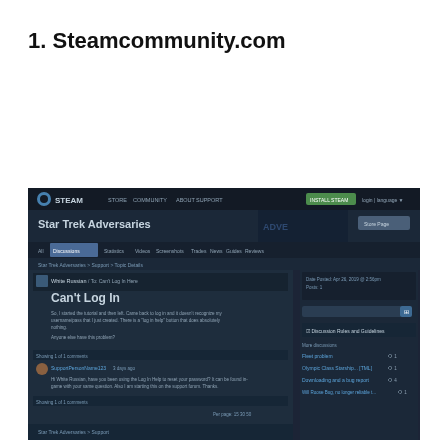1. Steamcommunity.com
[Figure (screenshot): Screenshot of the Steam Community website showing a Star Trek Adversaries game page with a forum discussion thread titled 'Can't Log In'. The page has a dark blue Steam UI with navigation tabs (Discussions, Statistics, Videos, Screenshots, Trades, News, Guides, Reviews), a breadcrumb trail, and a post by 'White Russian' with replies. The right sidebar shows related discussions.]